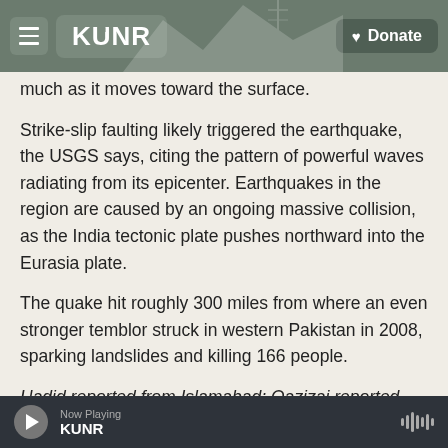KUNR | Donate
much as it moves toward the surface.
Strike-slip faulting likely triggered the earthquake, the USGS says, citing the pattern of powerful waves radiating from its epicenter. Earthquakes in the region are caused by an ongoing massive collision, as the India tectonic plate pushes northward into the Eurasia plate.
The quake hit roughly 300 miles from where an even stronger temblor struck in western Pakistan in 2008, sparking landslides and killing 166 people.
Hadid reported from Islamabad; Qazizai reported
Now Playing KUNR